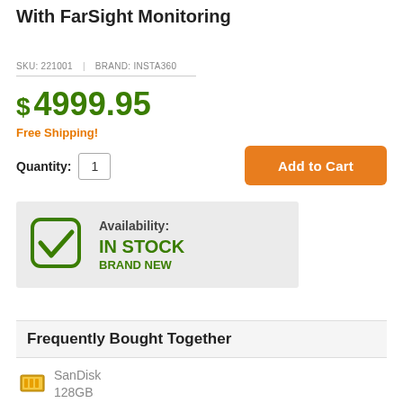With FarSight Monitoring
SKU: 221001 | BRAND: INSTA360
$ 4999.95
Free Shipping!
Quantity: 1
[Figure (other): Add to Cart button (orange rounded rectangle)]
[Figure (other): Availability box with green checkmark, 'Availability:' label, 'IN STOCK' and 'BRAND NEW' text on grey background]
Frequently Bought Together
SanDisk 128GB Extreme UHS I